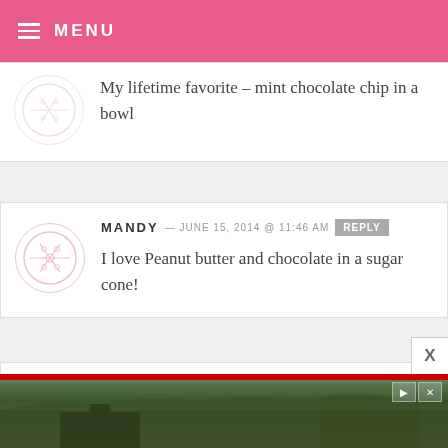MENU
My lifetime favorite – mint chocolate chip in a bowl
MANDY — JUNE 15, 2014 @ 11:46 AM  REPLY
I love Peanut butter and chocolate in a sugar cone!
JETT PRESSER — JUNE 15, 2014 @ 11:45 AM  REPLY
[Figure (photo): Advertisement banner showing a landscape/resort scene with red border at top and playback controls in top-right corner]